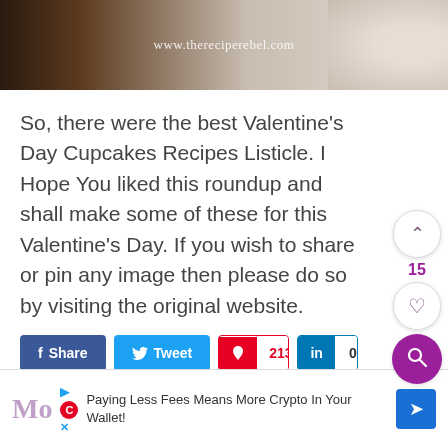[Figure (photo): Top strip showing a dark chocolate cupcake on the left and a light cream dessert on the right, with the watermark www.thereciperebel.com in the center]
So, there were the best Valentine's Day Cupcakes Recipes Listicle. I Hope You liked this roundup and shall make some of these for this Valentine's Day. If you wish to share or pin any image then please do so by visiting the original website.
Share | Tweet | 213 | 0
Paying Less Fees Means More Crypto In Your Wallet!